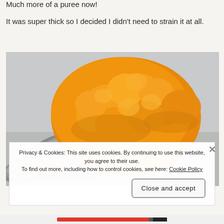Much more of a puree now!
It was super thick so I decided I didn't need to strain it at all.
[Figure (photo): A close-up photo of thick orange puree (likely pumpkin or squash) sitting on a silver spoon against a gray background.]
Privacy & Cookies: This site uses cookies. By continuing to use this website, you agree to their use.
To find out more, including how to control cookies, see here: Cookie Policy
Close and accept